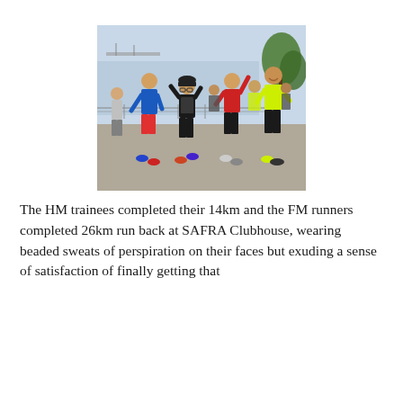[Figure (photo): Group of runners jogging along a waterfront path, smiling and waving at the camera. The runners are wearing athletic gear in various colours (blue, yellow-green, red). Trees and water visible in the background.]
The HM trainees completed their 14km and the FM runners completed 26km run back at SAFRA Clubhouse, wearing beaded sweats of perspiration on their faces but exuding a sense of satisfaction of finally getting that